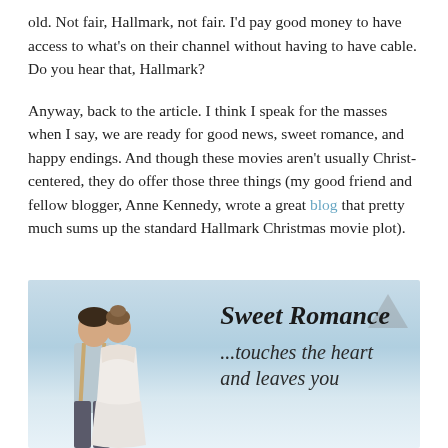old. Not fair, Hallmark, not fair. I'd pay good money to have access to what's on their channel without having to have cable. Do you hear that, Hallmark?
Anyway, back to the article. I think I speak for the masses when I say, we are ready for good news, sweet romance, and happy endings. And though these movies aren't usually Christ-centered, they do offer those three things (my good friend and fellow blogger, Anne Kennedy, wrote a great blog that pretty much sums up the standard Hallmark Christmas movie plot).
[Figure (illustration): Sweet Romance promotional image showing a couple viewed from behind — man in suspenders and woman in lace dress — against a soft blue sky/mountain background. Text overlay reads 'Sweet Romance ...touches the heart and leaves you' in bold italic and script fonts.]